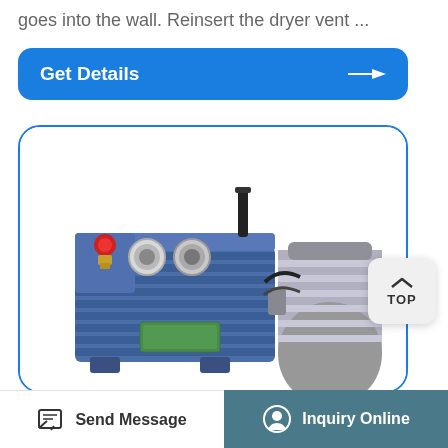goes into the wall. Reinsert the dryer vent ...
Get Details →
[Figure (photo): A blue two-stage rotary vane vacuum pump with silver electric motor attached, shown at an angle. The pump body is blue with fins, has two circular port fittings and a red cap on the left side, a small black vertical exhaust pipe on top, a label plate on the front, and a silver cylindrical motor on the right.]
TOP
Send Message
Inquiry Online